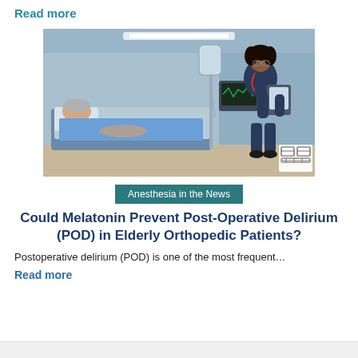Read more
[Figure (photo): Hospital room scene: elderly male patient lying in bed, female nurse/doctor in dark blue scrubs standing beside him reviewing a tablet, medical IV equipment in background, clinical setting with fluorescent lighting]
Anesthesia in the News
Could Melatonin Prevent Post-Operative Delirium (POD) in Elderly Orthopedic Patients?
Postoperative delirium (POD) is one of the most frequent…
Read more